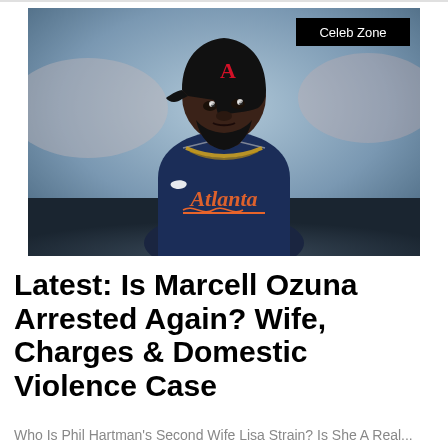[Figure (photo): Atlanta Braves baseball player Marcell Ozuna in navy blue Atlanta Braves uniform and black batting helmet with 'A' logo, wearing gold chain necklace, looking upward. Blurred stadium background. 'Celeb Zone' badge in top right corner.]
Latest: Is Marcell Ozuna Arrested Again? Wife, Charges & Domestic Violence Case
Who Is Phil Hartman's Second Wife Lisa Strain? Is She A Real...